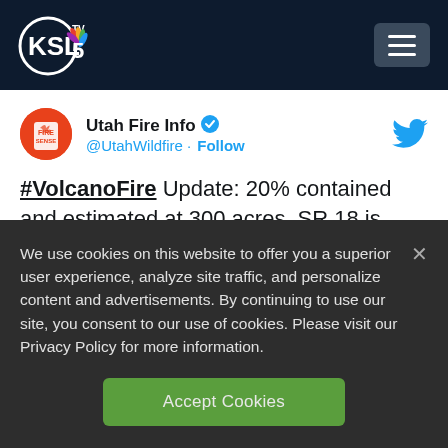KSL TV 5
Utah Fire Info @UtahWildfire · Follow
#VolcanoFire Update: 20% contained and estimated at 300 acres. SR 18 is open again. The investigation of the cause is on-going. All containment
We use cookies on this website to offer you a superior user experience, analyze site traffic, and personalize content and advertisements. By continuing to use our site, you consent to our use of cookies. Please visit our Privacy Policy for more information.
Accept Cookies